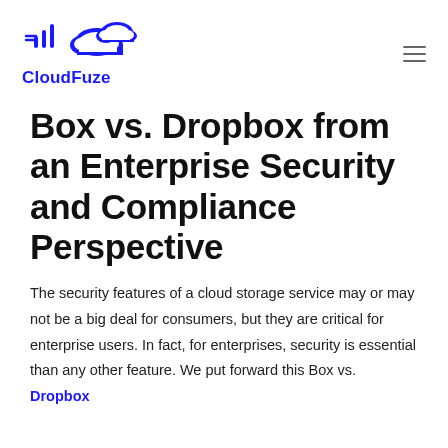[Figure (logo): CloudFuze logo with cloud and signal icon in blue, with text 'CloudFuze' below in bold blue]
Box vs. Dropbox from an Enterprise Security and Compliance Perspective
The security features of a cloud storage service may or may not be a big deal for consumers, but they are critical for enterprise users. In fact, for enterprises, security is essential than any other feature. We put forward this Box vs. Dropbox